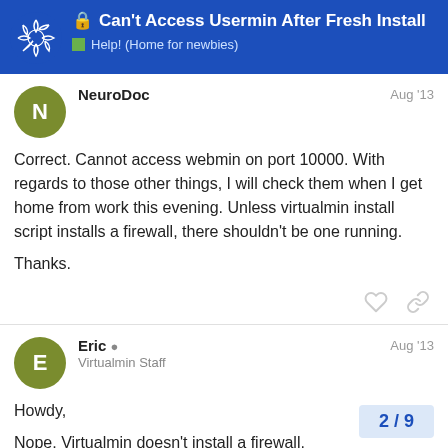Can't Access Usermin After Fresh Install — Help! (Home for newbies)
NeuroDoc — Aug '13
Correct. Cannot access webmin on port 10000. With regards to those other things, I will check them when I get home from work this evening. Unless virtualmin install script installs a firewall, there shouldn't be one running.

Thanks.
Eric — Virtualmin Staff — Aug '13
Howdy,

Nope, Virtualmin doesn't install a firewall.
2 / 9